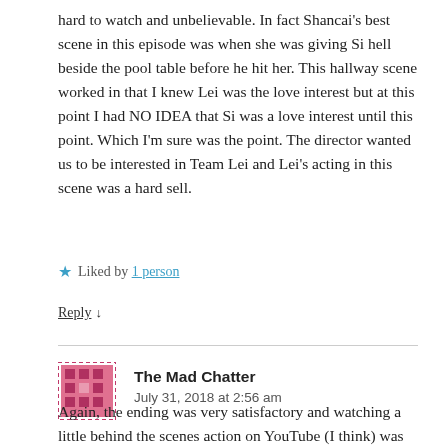hard to watch and unbelievable. In fact Shancai's best scene in this episode was when she was giving Si hell beside the pool table before he hit her. This hallway scene worked in that I knew Lei was the love interest but at this point I had NO IDEA that Si was a love interest until this point. Which I'm sure was the point. The director wanted us to be interested in Team Lei and Lei's acting in this scene was a hard sell.
★ Liked by 1 person
Reply ↓
The Mad Chatter
July 31, 2018 at 2:56 am
Again, the ending was very satisfactory and watching a little behind the scenes action on YouTube (I think) was fun. I think